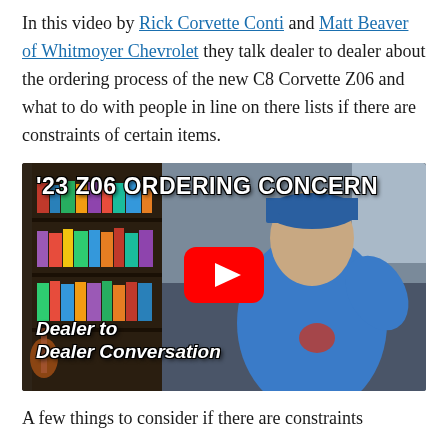In this video by Rick Corvette Conti and Matt Beaver of Whitmoyer Chevrolet they talk dealer to dealer about the ordering process of the new C8 Corvette Z06 and what to do with people in line on there lists if there are constraints of certain items.
[Figure (screenshot): YouTube video thumbnail titled '23 Z06 ORDERING CONCERN' showing a man in a blue Corvette hoodie and cap, with text overlay 'Dealer to Dealer Conversation' and a red YouTube play button in the center.]
A few things to consider if there are constraints